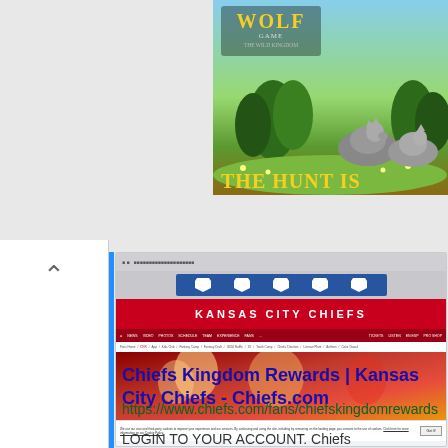[Figure (screenshot): Wolf Game: The Wild Kingdom advertisement banner showing wolves in a meadow with text 'THE HUNT IS']
[Figure (screenshot): Kansas City Chiefs website screenshot showing the Chiefs Kingdom Rewards fan page with red header, navigation bar, and fans celebrating]
Chiefs Kingdom Rewards | Kansas City Chiefs - Chiefs.com
https://www.chiefs.com/fans/chiefskingdomrewards
LOGIN TO YOUR ACCOUNT. Chiefs